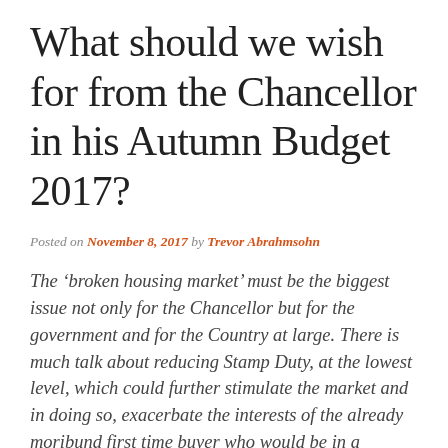What should we wish for from the Chancellor in his Autumn Budget 2017?
Posted on November 8, 2017 by Trevor Abrahmsohn
The ‘broken housing market’ must be the biggest issue not only for the Chancellor but for the government and for the Country at large. There is much talk about reducing Stamp Duty, at the lowest level, which could further stimulate the market and in doing so, exacerbate the interests of the already moribund first time buyer who would be in a greater parlous state than at present, if Help–